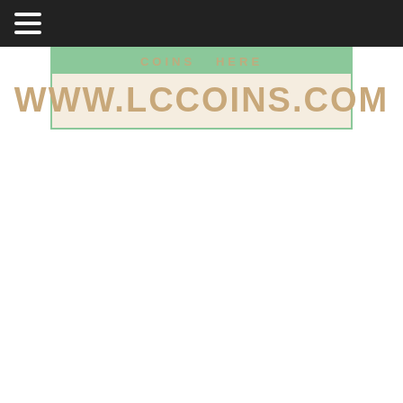[Figure (logo): LC Coins website banner with URL www.lccoins.com on a beige/cream background with green border strip at top reading 'LC COINS HERE' or similar text]
WWW.LCCOINS.COM